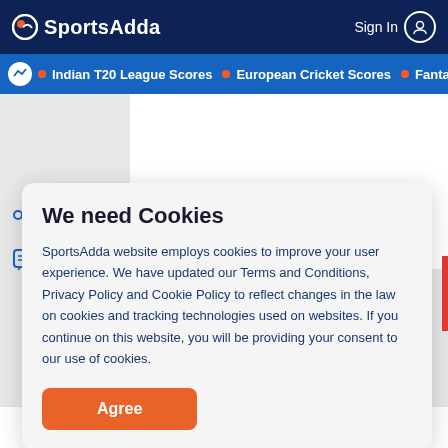SportsAdda  Sign In
Indian T20 League Scores  European Cricket Scores  Fantasy C
We need Cookies
SportsAdda website employs cookies to improve your user experience. We have updated our Terms and Conditions, Privacy Policy and Cookie Policy to reflect changes in the law on cookies and tracking technologies used on websites. If you continue on this website, you will be providing your consent to our use of cookies.
Agree
Home  Cricket Scores  Tips & Predictions  Football  More